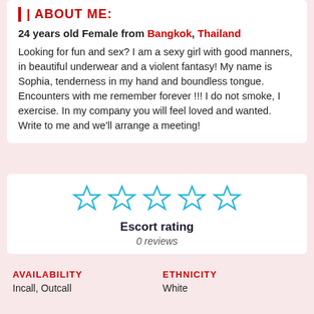ABOUT ME:
24 years old Female from Bangkok, Thailand
Looking for fun and sex? I am a sexy girl with good manners, in beautiful underwear and a violent fantasy! My name is Sophia, tenderness in my hand and boundless tongue. Encounters with me remember forever !!! I do not smoke, I exercise. In my company you will feel loved and wanted. Write to me and we'll arrange a meeting!
[Figure (other): Five empty star icons in cyan/blue outline representing a 0-star rating]
Escort rating
0 reviews
AVAILABILITY
Incall, Outcall
ETHNICITY
White